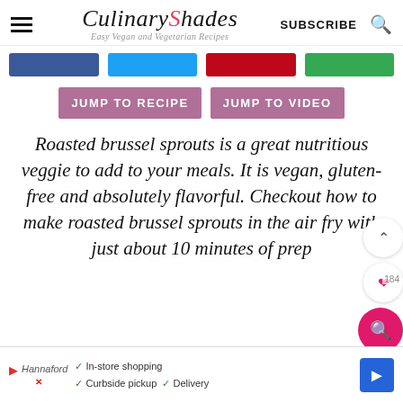CulinaryShades — Easy Vegan and Vegetarian Recipes — SUBSCRIBE
[Figure (other): Social media share buttons: Facebook (blue), Twitter (cyan), Pinterest (red), Google/green]
JUMP TO RECIPE
JUMP TO VIDEO
Roasted brussel sprouts is a great nutritious veggie to add to your meals. It is vegan, gluten-free and absolutely flavorful. Checkout how to make roasted brussel sprouts in the air fry with just about 10 minutes of prep
[Figure (other): Advertisement bar at bottom with in-store shopping, curbside pickup, delivery options]
In-store shopping  Curbside pickup  Delivery